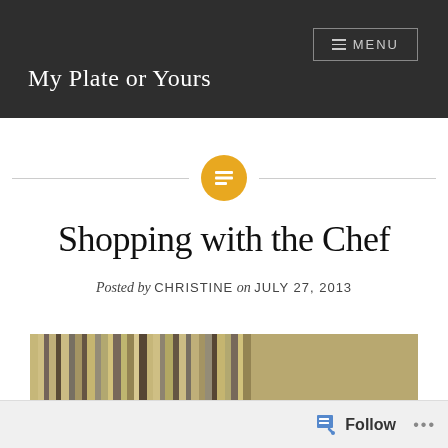My Plate or Yours
Shopping with the Chef
Posted by CHRISTINE on JULY 27, 2013
[Figure (photo): Partial view of a food or market photograph at bottom of page]
Follow ...